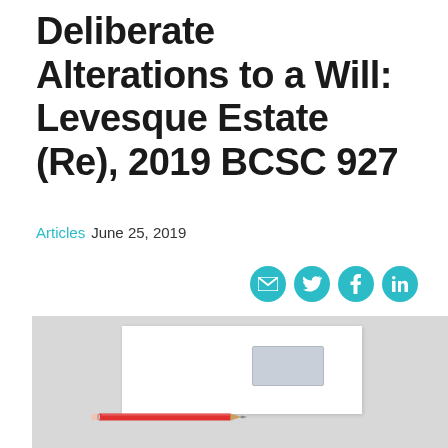Deliberate Alterations to a Will: Levesque Estate (Re), 2019 BCSC 927
Articles June 25, 2019
[Figure (photo): A white window envelope with a transparent address window on the right side, and a red pencil placed diagonally below it, on a light grey background.]